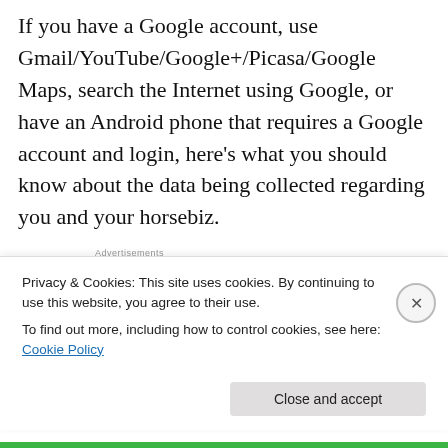If you have a Google account, use Gmail/YouTube/Google+/Picasa/Google Maps, search the Internet using Google, or have an Android phone that requires a Google account and login, here's what you should know about the data being collected regarding you and your horsebiz.
[Figure (screenshot): Advertisement banner for WordPress VIP showing WP logo, colorful background with app icons, and 'Learn more' button]
Click here to read more about Google's new policy
Privacy & Cookies: This site uses cookies. By continuing to use this website, you agree to their use.
To find out more, including how to control cookies, see here: Cookie Policy